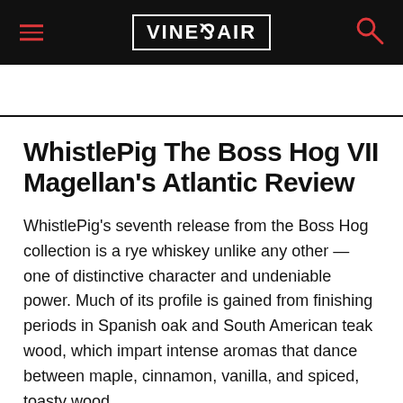VINEPAIR
WhistlePig The Boss Hog VII Magellan's Atlantic Review
WhistlePig's seventh release from the Boss Hog collection is a rye whiskey unlike any other — one of distinctive character and undeniable power. Much of its profile is gained from finishing periods in Spanish oak and South American teak wood, which impart intense aromas that dance between maple, cinnamon, vanilla, and spiced, toasty wood.